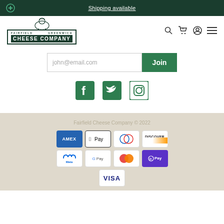Shipping available
[Figure (logo): Fairfield Greenwich Cheese Company logo with goat illustration and green border box]
[Figure (screenshot): Email signup bar with john@email.com placeholder and Join button]
[Figure (infographic): Social media icons: Facebook, Twitter, Instagram]
Fairfield Cheese Company © 2022
[Figure (infographic): Payment method icons: Amex, Apple Pay, Diners, Discover, Meta Pay, Google Pay, Mastercard, Shop Pay, Visa]